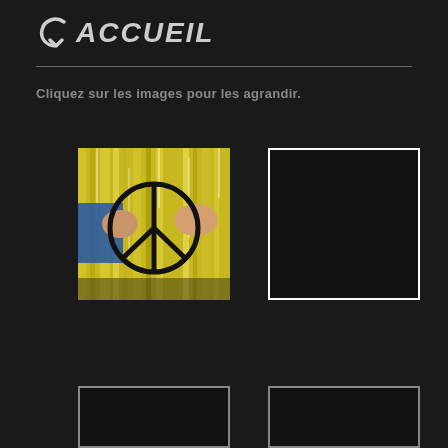ACCUEIL
Cliquez sur les images pour les agrandir.
[Figure (photo): Hands holding a peace symbol in front of a yellow and white graffiti wall mural]
[Figure (photo): Dark/empty image placeholder with white border]
[Figure (photo): Dark/empty image placeholder with grey border, partially visible at bottom]
[Figure (photo): Dark/empty image placeholder with grey border, partially visible at bottom]